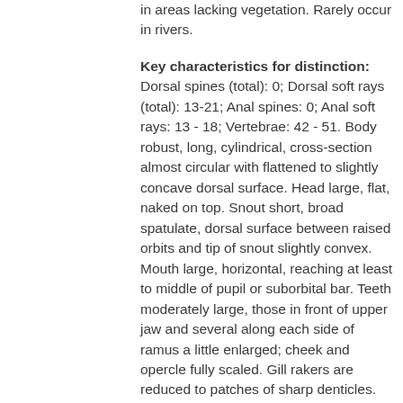in areas lacking vegetation. Rarely occur in rivers.
Key characteristics for distinction: Dorsal spines (total): 0; Dorsal soft rays (total): 13-21; Anal spines: 0; Anal soft rays: 13 - 18; Vertebrae: 42 - 51. Body robust, long, cylindrical, cross-section almost circular with flattened to slightly concave dorsal surface. Head large, flat, naked on top. Snout short, broad spatulate, dorsal surface between raised orbits and tip of snout slightly convex. Mouth large, horizontal, reaching at least to middle of pupil or suborbital bar. Teeth moderately large, those in front of upper jaw and several along each side of ramus a little enlarged; cheek and opercle fully scaled. Gill rakers are reduced to patches of sharp denticles. Branchiostegal rays: 19-